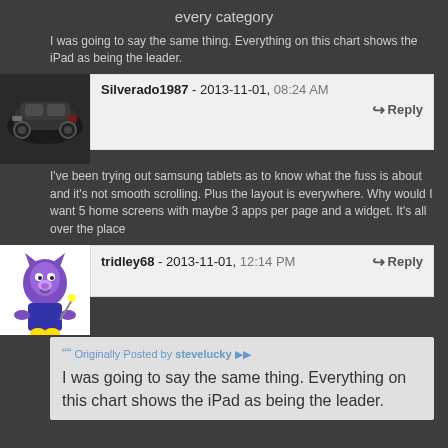every category
I was going to say the same thing. Everything on this chart shows the iPad as being the leader.
Silverado1987 - 2013-11-01, 08:24 AM
I've been trying out samsung tablets as to know what the fuss is about and it's not smooth scrolling. Plus the layout is everywhere. Why would I want 5 home screens with maybe 3 apps per page and a widget. It's all over the place
tridley68 - 2013-11-01, 12:14 PM
Originally Posted by stevelucky
I was going to say the same thing. Everything on this chart shows the iPad as being the leader.